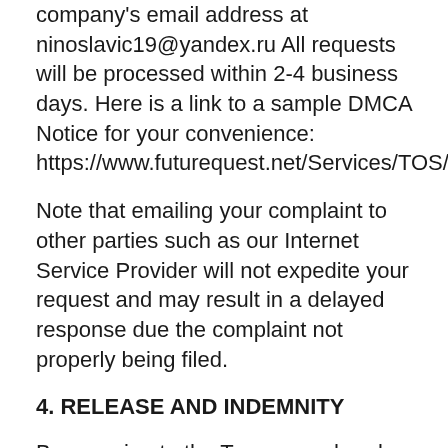company's email address at ninoslavic19@yandex.ru All requests will be processed within 2-4 business days. Here is a link to a sample DMCA Notice for your convenience: https://www.futurequest.net/Services/TOS/DMCA/DMCANotice.php
Note that emailing your complaint to other parties such as our Internet Service Provider will not expedite your request and may result in a delayed response due the complaint not properly being filed.
4. RELEASE AND INDEMNITY
By agreeing to the Terms, you hereby acknowledge, that “You”, on behalf of yourself and your agents, successors and